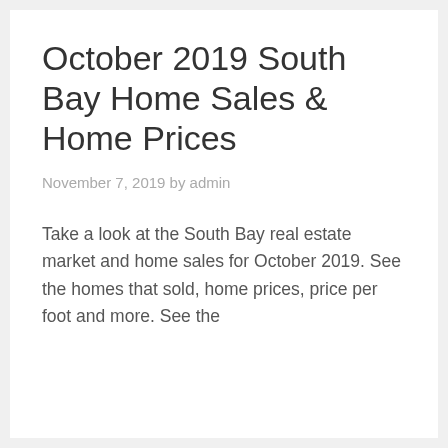October 2019 South Bay Home Sales & Home Prices
November 7, 2019 by admin
Take a look at the South Bay real estate market and home sales for October 2019.  See the homes that sold, home prices, price per foot and more.  See the